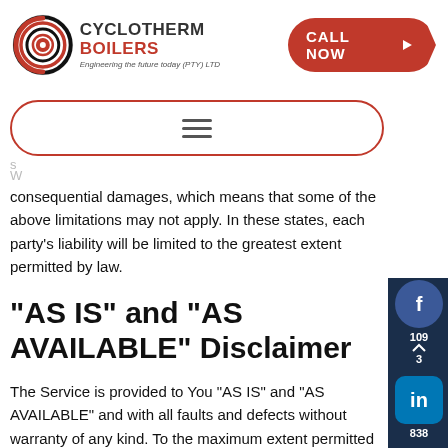[Figure (logo): Cyclotherm Boilers logo with circular concentric design and tagline 'Engineering the future today (PTY) LTD']
[Figure (other): Red rounded arrow button with text 'CALL NOW']
[Figure (other): Navigation menu box with red border and hamburger icon]
consequential damages, which means that some of the above limitations may not apply. In these states, each party's liability will be limited to the greatest extent permitted by law.
“AS IS” and “AS AVAILABLE” Disclaimer
The Service is provided to You “AS IS” and “AS AVAILABLE” and with all faults and defects without warranty of any kind. To the maximum extent permitted under applicable law, the Company, on its own behalf and on behalf of its Affiliates and its and